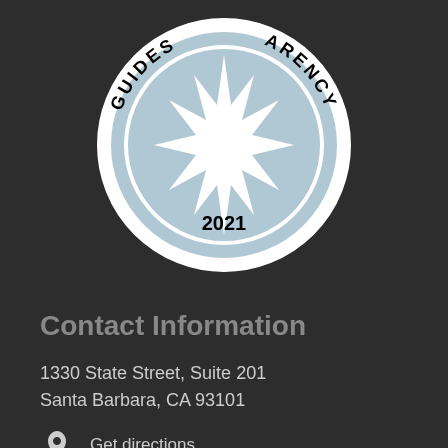[Figure (logo): Guidestar Transparency 2021 seal/badge — circular badge with blue background, white star burst in center, text 'GUIDES' and 'ARENCY' curved around the top, '2021' at the bottom]
Contact Information
1330 State Street, Suite 201
Santa Barbara, CA 93101
Get directions
(805) 284-9125
info@santabarbaraeducation.org
Mo Tu We Th Fr 9:00 am – 5:00 pm